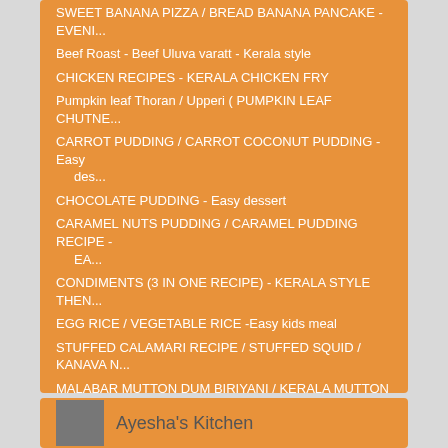SWEET BANANA PIZZA / BREAD BANANA PANCAKE - EVENI...
Beef Roast - Beef Uluva varatt - Kerala style
CHICKEN RECIPES - KERALA CHICKEN FRY
Pumpkin leaf Thoran / Upperi ( PUMPKIN LEAF CHUTNE...
CARROT PUDDING / CARROT COCONUT PUDDING - Easy des...
CHOCOLATE PUDDING - Easy dessert
CARAMEL NUTS PUDDING / CARAMEL PUDDING RECIPE - EA...
CONDIMENTS (3 IN ONE RECIPE) - KERALA STYLE THEN...
EGG RICE / VEGETABLE RICE -Easy kids meal
STUFFED CALAMARI RECIPE / STUFFED SQUID / KANAVA N...
MALABAR MUTTON DUM BIRIYANI / KERALA MUTTON BIRIYANI
► September (21)
► August (29)
► July (21)
Ayesha's Kitchen